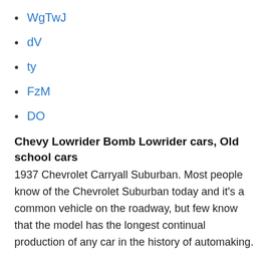WgTwJ
dV
ty
FzM
DO
Chevy Lowrider Bomb Lowrider cars, Old school cars
1937 Chevrolet Carryall Suburban. Most people know of the Chevrolet Suburban today and it's a common vehicle on the roadway, but few know that the model has the longest continual production of any car in the history of automaking.